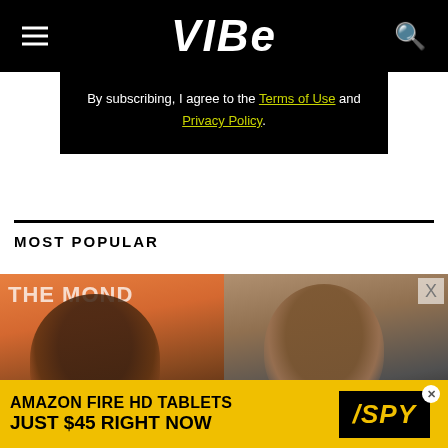VIBE
By subscribing, I agree to the Terms of Use and Privacy Policy.
MOST POPULAR
[Figure (photo): Two side-by-side photos: left shows a Black man with round glasses and a chain necklace smiling, in front of an orange backdrop with partial text THE MOND; right shows a Latino man with dark curly hair and a mustache in a vintage photo. A yellow badge with '1' appears at the bottom left of the left photo.]
[Figure (other): Advertisement banner: Amazon Fire HD Tablets Just $45 Right Now, with SPY logo on yellow background]